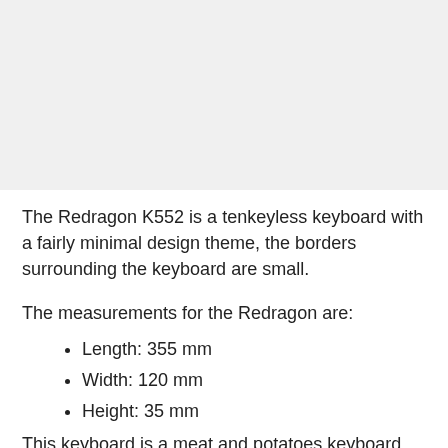[Figure (photo): Photo of the Redragon K552 tenkeyless keyboard]
The Redragon K552 is a tenkeyless keyboard with a fairly minimal design theme, the borders surrounding the keyboard are small.
The measurements for the Redragon are:
Length: 355 mm
Width: 120 mm
Height: 35 mm
This keyboard is a meat and potatoes keyboard, you get all the standard stuff without a lot of extra overworked functions